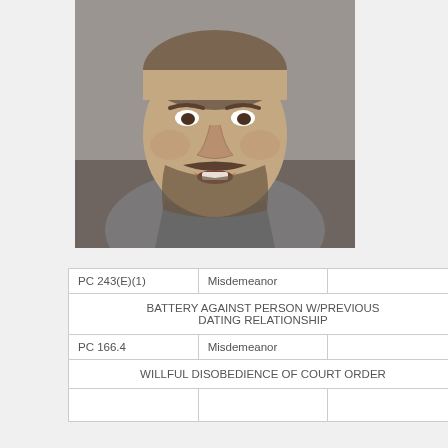[Figure (photo): Mugshot of a middle-aged man with beard and mustache, wearing a gray hoodie, mouth slightly open, against a gray background.]
| PC 243(E)(1) | Misdemeanor |  |
| BATTERY AGAINST PERSON W/PREVIOUS DATING RELATIONSHIP |
| PC 166.4 | Misdemeanor |  |
| WILLFUL DISOBEDIENCE OF COURT ORDER |
|  |  |  |